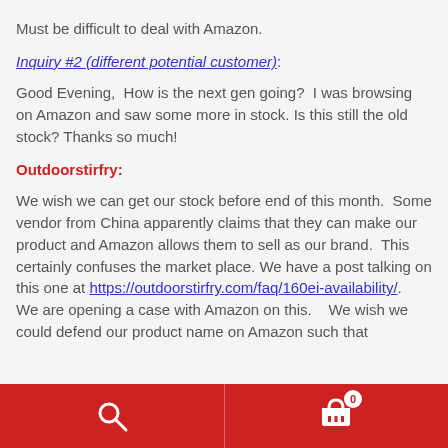Must be difficult to deal with Amazon.
Inquiry #2 (different potential customer):
Good Evening,  How is the next gen going?  I was browsing on Amazon and saw some more in stock. Is this still the old stock? Thanks so much!
Outdoorstirfry:
We wish we can get our stock before end of this month.  Some vendor from China apparently claims that they can make our product and Amazon allows them to sell as our brand.  This certainly confuses the market place.  We have a post talking on this one at https://outdoorstirfry.com/faq/160ei-availability/.    We are opening a case with Amazon on this.    We wish we could defend our product name on Amazon such that
Search | Cart 0